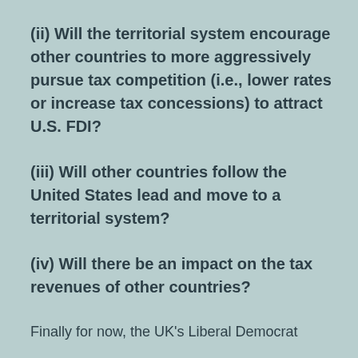(ii) Will the territorial system encourage other countries to more aggressively pursue tax competition (i.e., lower rates or increase tax concessions) to attract U.S. FDI?
(iii) Will other countries follow the United States lead and move to a territorial system?
(iv) Will there be an impact on the tax revenues of other countries?
Finally for now, the UK's Liberal Democrat